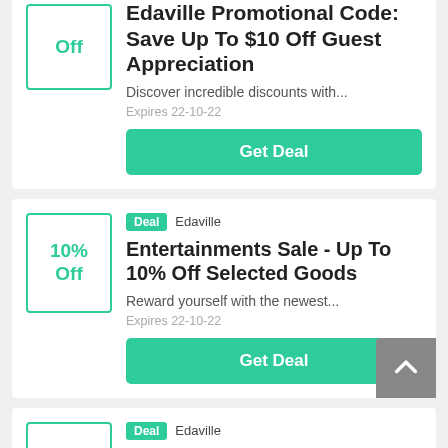[Figure (other): Coupon card 1 - partial top card showing discount box and Edaville Promotional Code deal]
Edaville Promotional Code: Save Up To $10 Off Guest Appreciation
Discover incredible discounts with...
Expires 22-10-22
Get Deal
[Figure (other): Coupon card 2 - 10% Off Edaville Entertainments Sale deal]
Entertainments Sale - Up To 10% Off Selected Goods
Reward yourself with the newest...
Expires 22-10-22
Get Deal
[Figure (other): Coupon card 3 - partial bottom card with discount box and Deal/Edaville tag visible]